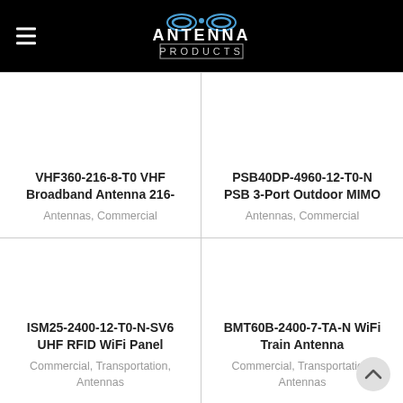Antenna Products
VHF360-216-8-T0 VHF Broadband Antenna 216-
Antennas, Commercial
PSB40DP-4960-12-T0-N PSB 3-Port Outdoor MIMO
Antennas, Commercial
ISM25-2400-12-T0-N-SV6 UHF RFID WiFi Panel
Commercial, Transportation, Antennas
BMT60B-2400-7-TA-N WiFi Train Antenna
Commercial, Transportation, Antennas